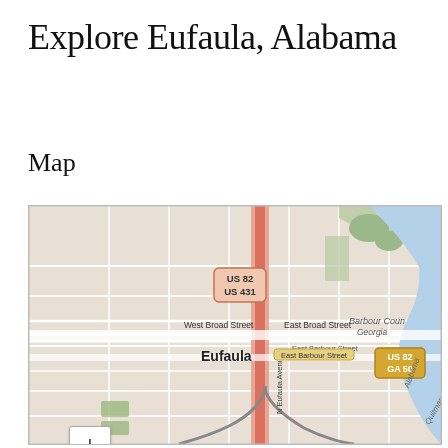Explore Eufaula, Alabama
Map
[Figure (map): Street map of Eufaula, Alabama showing major roads including US 82, US 431, GA 50, West Broad Street, East Broad Street, East Barbour Street, North Eufaula Avenue, and the Alabama/Quitman area near the Georgia border. A river is visible on the right side. Map includes zoom controls (+/-).]